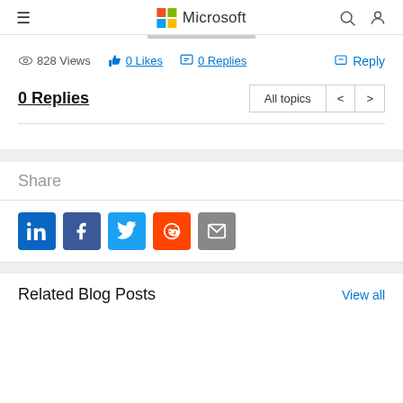Microsoft
828 Views  0 Likes  0 Replies  Reply
0 Replies
Share
[Figure (infographic): Social share buttons: LinkedIn, Facebook, Twitter, Reddit, Email]
Related Blog Posts
View all